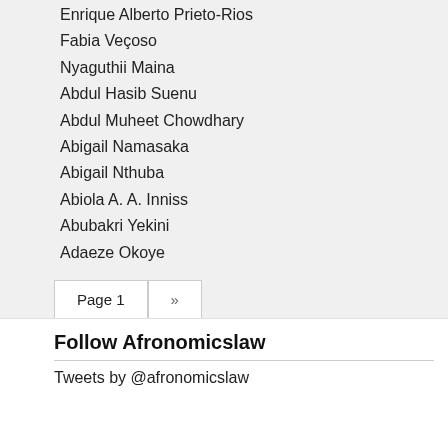Enrique Alberto Prieto-Rios
Fabia Veçoso
Nyaguthii Maina
Abdul Hasib Suenu
Abdul Muheet Chowdhary
Abigail Namasaka
Abigail Nthuba
Abiola A. A. Inniss
Abubakri Yekini
Adaeze Okoye
Page 1 »
Follow Afronomicslaw
Tweets by @afronomicslaw
Signup For Our Email List